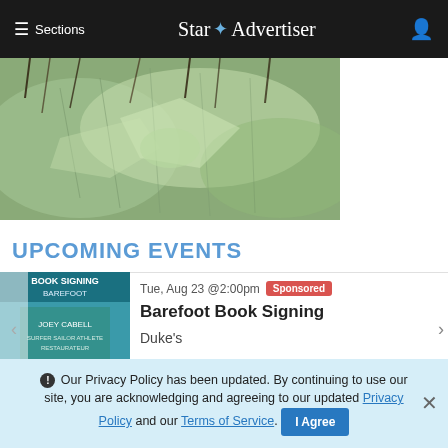≡ Sections  Star Advertiser
[Figure (photo): Close-up macro photo of a plant leaf with dark spiky elements, green textured surface]
UPCOMING EVENTS
[Figure (photo): Book signing event thumbnail for Barefoot by Joey Cabell]
Tue, Aug 23 @2:00pm  Sponsored
Barefoot Book Signing
Duke's
[Figure (photo): Hawaii Watercolor Society Open Show event thumbnail with colorful vertical strips]
Fri, Aug 19 @11:00am
Hawaii Watercolor Society Open Show
ℹ Our Privacy Policy has been updated. By continuing to use our site, you are acknowledging and agreeing to our updated Privacy Policy and our Terms of Service. I Agree